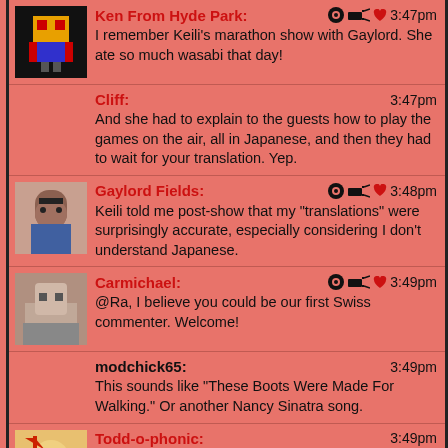Ken From Hyde Park: I remember Keili's marathon show with Gaylord. She ate so much wasabi that day! 3:47pm
Cliff: And she had to explain to the guests how to play the games on the air, all in Japanese, and then they had to wait for your translation. Yep. 3:47pm
Gaylord Fields: Keili told me post-show that my "translations" were surprisingly accurate, especially considering I don't understand Japanese. 3:48pm
Carmichael: @Ra, I believe you could be our first Swiss commenter. Welcome! 3:49pm
modchick65: This sounds like "These Boots Were Made For Walking." Or another Nancy Sinatra song. 3:49pm
Todd-o-phonic: I believe Jerry Blavat created the "81" dance...maybe he can teach it to you! 3:49pm
Cliff: 3:49pm